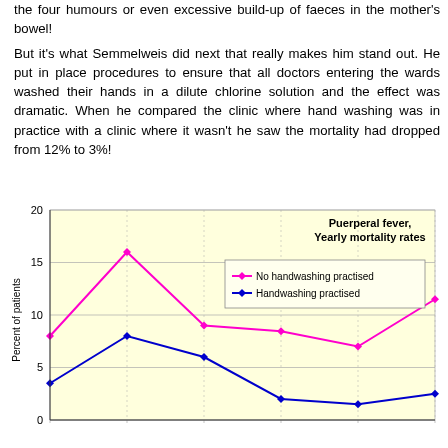the four humours or even excessive build-up of faeces in the mother's bowel!
But it's what Semmelweis did next that really makes him stand out. He put in place procedures to ensure that all doctors entering the wards washed their hands in a dilute chlorine solution and the effect was dramatic. When he compared the clinic where hand washing was in practice with a clinic where it wasn't he saw the mortality had dropped from 12% to 3%!
[Figure (line-chart): Puerperal fever, Yearly mortality rates]